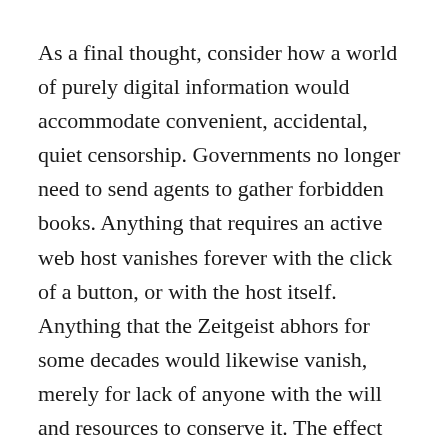As a final thought, consider how a world of purely digital information would accommodate convenient, accidental, quiet censorship. Governments no longer need to send agents to gather forbidden books. Anything that requires an active web host vanishes forever with the click of a button, or with the host itself. Anything that the Zeitgeist abhors for some decades would likewise vanish, merely for lack of anyone with the will and resources to conserve it. The effect would be similar to the “Dark Ages” disappearance of Greek and Roman classics deemed unworthy by the Church to be preserved by continuous copying, except on a vastly accelerated timescale. Active